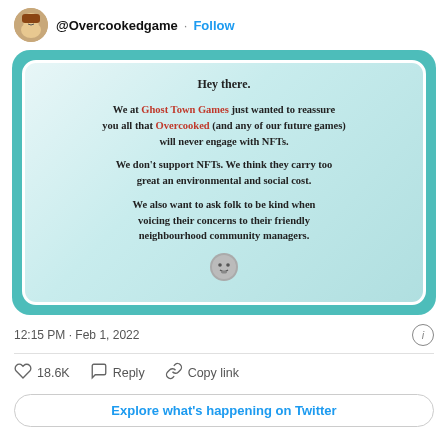@Overcookedgame · Follow
[Figure (screenshot): A teal-bordered card with a dotted light blue inner panel. Contains text: 'Hey there. We at Ghost Town Games just wanted to reassure you all that Overcooked (and any of our future games) will never engage with NFTs. We don't support NFTs. We think they carry too great an environmental and social cost. We also want to ask folk to be kind when voicing their concerns to their friendly neighbourhood community managers.' with a small onion emoji at the bottom.]
12:15 PM · Feb 1, 2022
18.6K  Reply  Copy link
Explore what's happening on Twitter